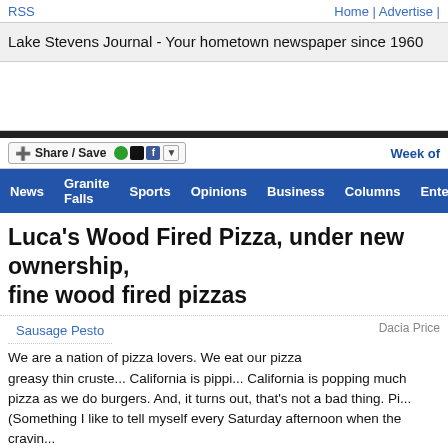RSS | Home | Advertise |
Lake Stevens Journal - Your hometown newspaper since 1960
Share / Save | Week of
News | Granite Falls | Sports | Opinions | Business | Columns | Entertain
Luca's Wood Fired Pizza, under new ownership, fine wood fired pizzas
Dacia Price
Sausage Pesto
We are a nation of pizza lovers. We eat our pizza greasy thin crusted, California is popping up much pizza as we do burgers. And, it turns out, that's not a bad thing. Pi... (Something I like to tell myself every Saturday afternoon when the cravin... choices can be slim.